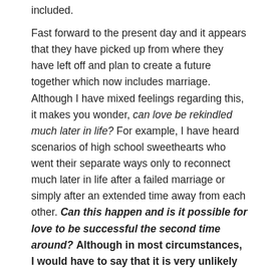included.
Fast forward to the present day and it appears that they have picked up from where they have left off and plan to create a future together which now includes marriage. Although I have mixed feelings regarding this, it makes you wonder, can love be rekindled much later in life? For example, I have heard scenarios of high school sweethearts who went their separate ways only to reconnect much later in life after a failed marriage or simply after an extended time away from each other. Can this happen and is it possible for love to be successful the second time around? Although in most circumstances, I would have to say that it is very unlikely and that the chances are slim to none, as the saying goes, "never say never." In other words, there are those rare instances where two people might not have been ready to be together but after a substantial amount of time has gone by, both people are ready to make it work for the long haul. It can take